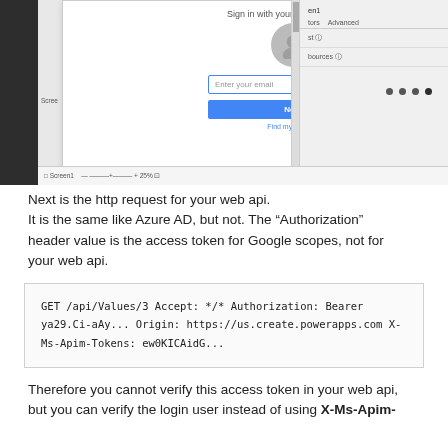[Figure (screenshot): Screenshot of a Google Account sign-in dialog overlaid on a PowerApps UI. The dialog shows a user avatar icon, an 'Enter your email' input field, a blue 'Next' button, and a 'Find my account' link. To the right is a panel with 'en1', 'Advanced' tabs, and navigation dots. Below is a toolbar showing 'Screen1' and a zoom control, and a Cancel button.]
Next is the http request for your web api.
It is the same like Azure AD, but not. The “Authorization” header value is the access token for Google scopes, not for your web api.
GET /api/Values/3
Accept: */*
Authorization: Bearer ya29.Ci-aAy...
Origin: https://us.create.powerapps.com
X-Ms-Apim-Tokens: ew0KICAidG...
Therefore you cannot verify this access token in your web api, but you can verify the login user instead of using X-Ms-Apim-